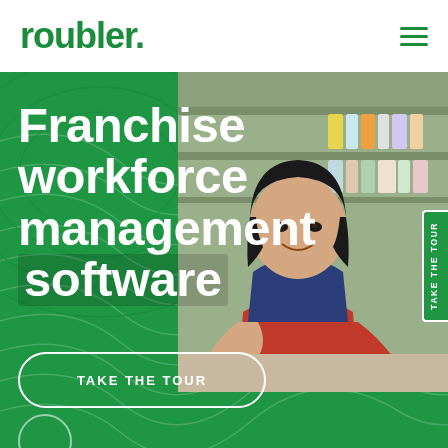roubler.
[Figure (photo): Hero section with green background, decorative wave pattern, and photo of smiling Asian woman in red apron and navy blue shirt leaning on counter in a retail/grocery store setting.]
Franchise workforce management software
TAKE THE TOUR
TAKE THE TOUR